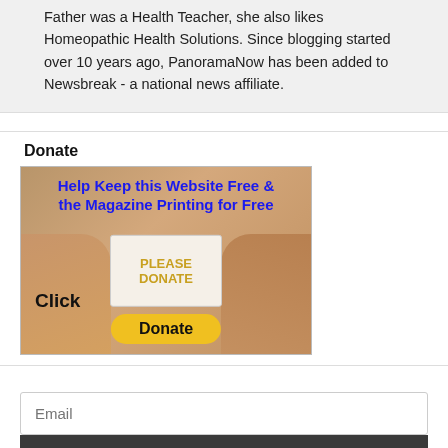Father was a Health Teacher, she also likes Homeopathic Health Solutions. Since blogging started over 10 years ago, PanoramaNow has been added to Newsbreak - a national news affiliate.
Donate
[Figure (illustration): Donate banner image showing hands holding a 'PLEASE DONATE' sign with 'Help Keep this Website Free & the Magazine Printing for Free' text in blue, 'Click' text in black, and a yellow 'Donate' button]
Email
Subscribe